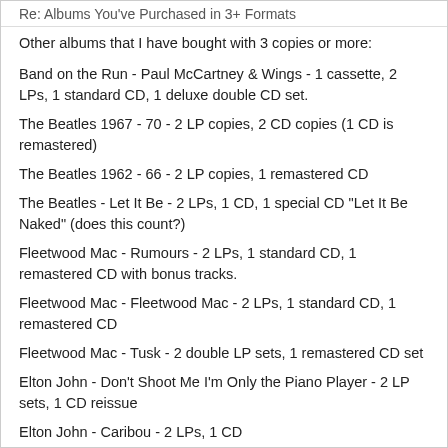Re: Albums You've Purchased in 3+ Formats
Other albums that I have bought with 3 copies or more:
Band on the Run - Paul McCartney & Wings - 1 cassette, 2 LPs, 1 standard CD, 1 deluxe double CD set.
The Beatles 1967 - 70 - 2 LP copies, 2 CD copies (1 CD is remastered)
The Beatles 1962 - 66 - 2 LP copies, 1 remastered CD
The Beatles - Let It Be - 2 LPs, 1 CD, 1 special CD "Let It Be Naked" (does this count?)
Fleetwood Mac - Rumours - 2 LPs, 1 standard CD, 1 remastered CD with bonus tracks.
Fleetwood Mac - Fleetwood Mac - 2 LPs, 1 standard CD, 1 remastered CD
Fleetwood Mac - Tusk - 2 double LP sets, 1 remastered CD set
Elton John - Don't Shoot Me I'm Only the Piano Player - 2 LP sets, 1 CD reissue
Elton John - Caribou - 2 LPs, 1 CD
Elton John - Captain Fantastic & the Brown Dirt Cowboy - 2 LPs, 1